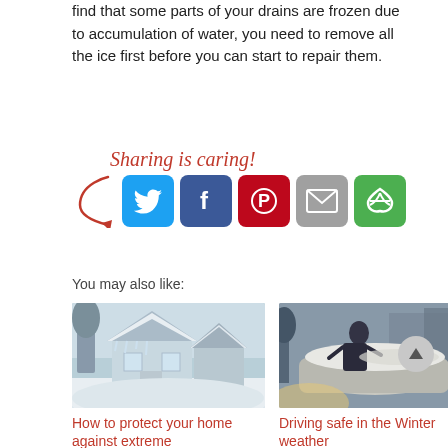find that some parts of your drains are frozen due to accumulation of water, you need to remove all the ice first before you can start to repair them.
[Figure (infographic): Sharing is caring! social share buttons for Twitter, Facebook, Pinterest, Email, and More options with a red arrow pointing to the buttons]
You may also like:
[Figure (photo): Snow-covered house with icicles and deep snow in a winter scene]
How to protect your home against extreme
[Figure (photo): Person scraping snow off a car in winter weather]
Driving safe in the Winter weather